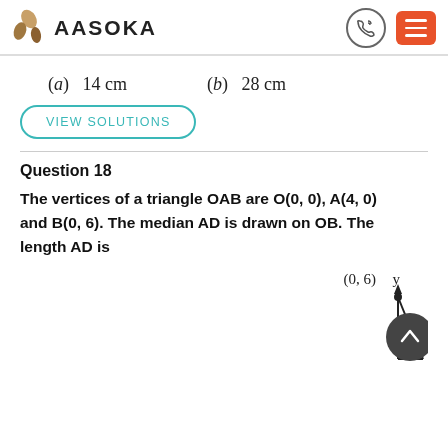AASOKA
(a)  14 cm
(b)  28 cm
VIEW SOLUTIONS
Question 18
The vertices of a triangle OAB are O(0, 0), A(4, 0) and B(0, 6). The median AD is drawn on OB. The length AD is
[Figure (engineering-diagram): Coordinate diagram showing point B at (0,6) on the y-axis with axes drawn, partial triangle OAB visible]